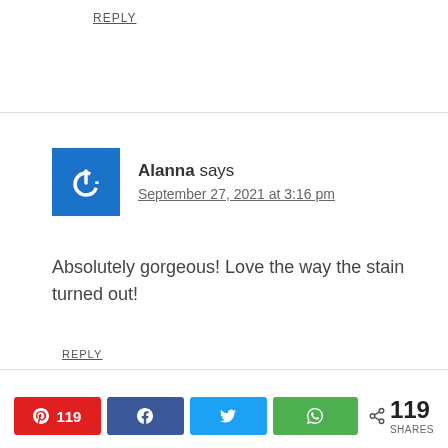REPLY
Alanna says
September 27, 2021 at 3:16 pm
Absolutely gorgeous! Love the way the stain turned out!
REPLY
119 SHARES